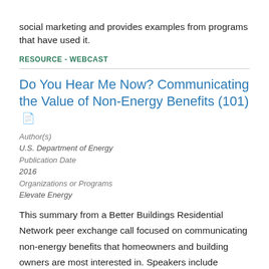social marketing and provides examples from programs that have used it.
RESOURCE - WEBCAST
Do You Hear Me Now? Communicating the Value of Non-Energy Benefits (101)
Author(s)
U.S. Department of Energy
Publication Date
2016
Organizations or Programs
Elevate Energy
This summary from a Better Buildings Residential Network peer exchange call focused on communicating non-energy benefits that homeowners and building owners are most interested in. Speakers include Elevate Energy, Green & Healthy Homes Initiative, and Skumatz Economic Research Associates, Inc.